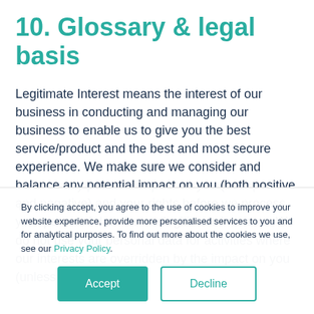10. Glossary & legal basis
Legitimate Interest means the interest of our business in conducting and managing our business to enable us to give you the best service/product and the best and most secure experience. We make sure we consider and balance any potential impact on you (both positive and negative) and your rights before we process your personal data for our legitimate interests. We do not use your personal data for activities where our interests are overridden by the impact on you (unless
By clicking accept, you agree to the use of cookies to improve your website experience, provide more personalised services to you and for analytical purposes. To find out more about the cookies we use, see our Privacy Policy.